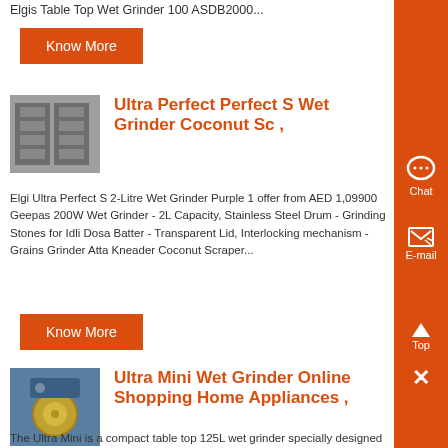Elgis Table Top Wet Grinder 100 ASDB2000...
Know More
Ultra Perfect Perfect S Wet Grinder Coconut Sc ,
Elgi Ultra Perfect S 2-Litre Wet Grinder Purple 1 offer from AED 1,09900 Geepas 200W Wet Grinder - 2L Capacity, Stainless Steel Drum - Grinding Stones for Idli Dosa Batter - Transparent Lid, Interlocking mechanism - Grains Grinder Atta Kneader Coconut Scraper...
Know More
Ultra Mini Wet Grinder Online Shopping Home Appliances ,
The Ultra Mini is a compact table top 125L wet grinder specially designed for a small family of 2 or 3 It is also designed with patented conical stones for effective grinding without higher batter temperature rise Hence you get soft